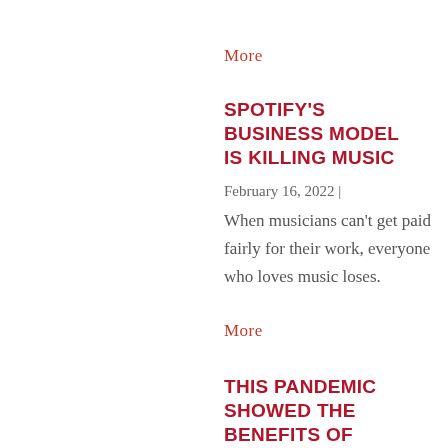More
SPOTIFY'S BUSINESS MODEL IS KILLING MUSIC
February 16, 2022 | When musicians can't get paid fairly for their work, everyone who loves music loses.
More
THIS PANDEMIC SHOWED THE BENEFITS OF UNIVERSAL